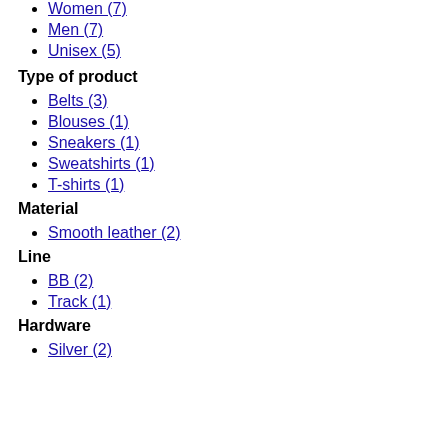Women (7)
Men (7)
Unisex (5)
Type of product
Belts (3)
Blouses (1)
Sneakers (1)
Sweatshirts (1)
T-shirts (1)
Material
Smooth leather (2)
Line
BB (2)
Track (1)
Hardware
Silver (2)